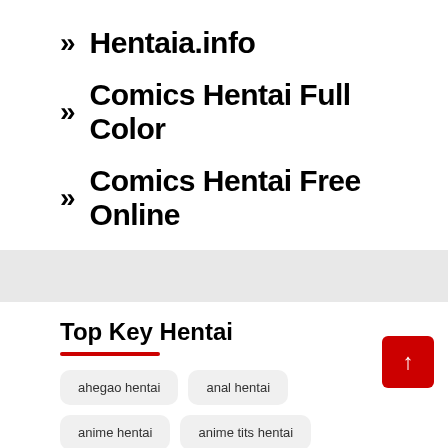Hentaia.info
Comics Hentai Full Color
Comics Hentai Free Online
Top Key Hentai
ahegao hentai
anal hentai
anime hentai
anime tits hentai
best hentai manga
big breasts hentai
blowjob hentai